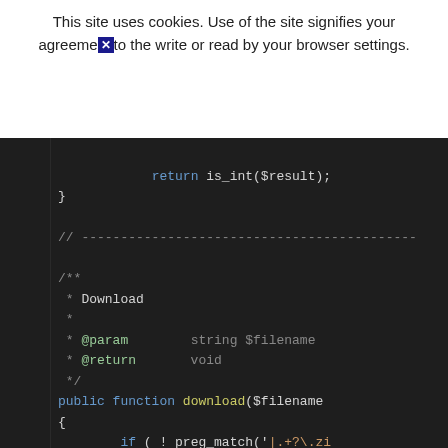This site uses cookies. Use of the site signifies your agreement to the write or read by your browser settings.
[Figure (screenshot): Dark-themed code editor screenshot showing PHP code with a download() function definition, DocBlock comment with @param and @return tags, and a preg_match conditional.]